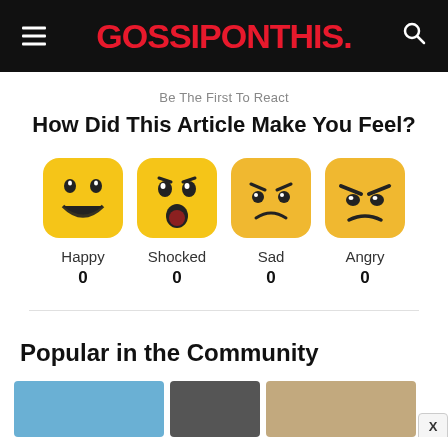GOSSIPONTHIS.
Be The First To React
How Did This Article Make You Feel?
[Figure (infographic): Four emoji reaction buttons: Happy (0), Shocked (0), Sad (0), Angry (0)]
Popular in the Community